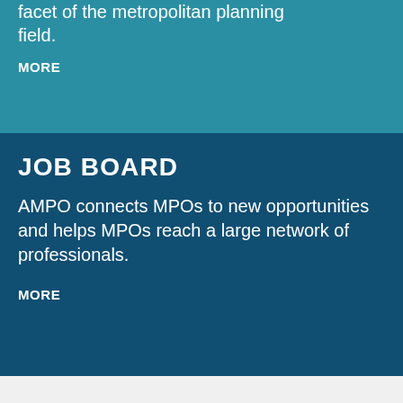facet of the metropolitan planning field.
MORE
JOB BOARD
AMPO connects MPOs to new opportunities and helps MPOs reach a large network of professionals.
MORE